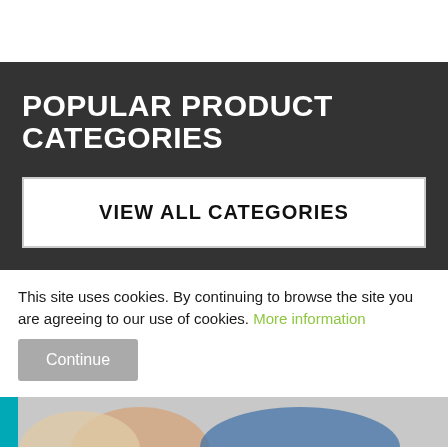POPULAR PRODUCT CATEGORIES
VIEW ALL CATEGORIES
This site uses cookies. By continuing to browse the site you are agreeing to our use of cookies. More information
Continue
[Figure (photo): Partial view of a person at the bottom of the page, partially cropped]